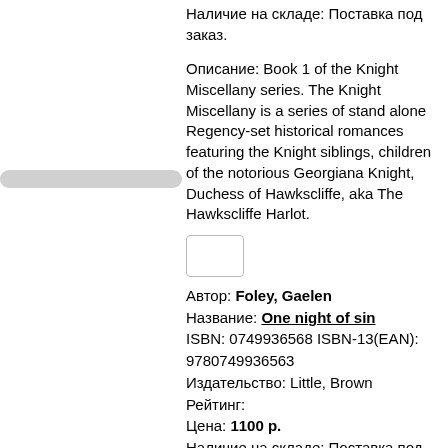Наличие на складе: Поставка под заказ.
Описание: Book 1 of the Knight Miscellany series. The Knight Miscellany is a series of stand alone Regency-set historical romances featuring the Knight siblings, children of the notorious Georgiana Knight, Duchess of Hawkscliffe, aka The Hawkscliffe Harlot.
Автор: Foley, Gaelen
Название: One night of sin
ISBN: 0749936568 ISBN-13(EAN): 9780749936563
Издательство: Little, Brown
Рейтинг:
Цена: 1100 p.
Наличие на складе: Поставка под заказ.
Описание: Lord Alec Knight, the most daring and handsome rogue in all of London, is a smooth-talking aristocrat who has left a trail of broken-hearted ladies in his wake. But when the only girl he would have considered marrying ties the knot with someone else, Alec realises he doesn`t want to be with just any lady - he wants to find the love of his life